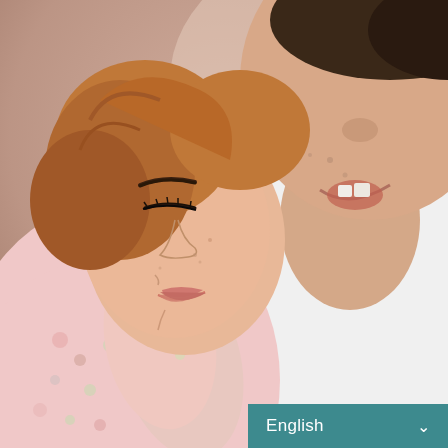[Figure (photo): Close-up photograph of a woman with closed eyes (wearing a pink floral top) and a teenage boy leaning their heads together in an affectionate embrace. The woman appears emotional, the boy wears a white t-shirt.]
English ∨